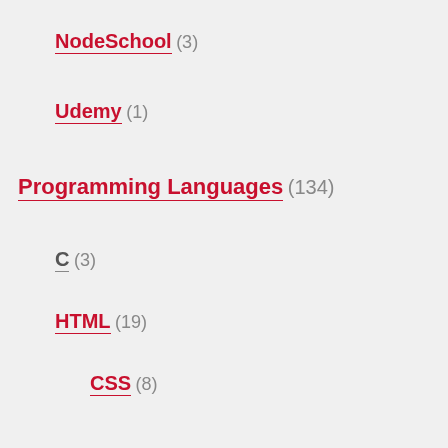NodeSchool (3)
Udemy (1)
Programming Languages (134)
C (3)
HTML (19)
CSS (8)
Bootstrap (5)
WebGL (2)
JavaScript (20)